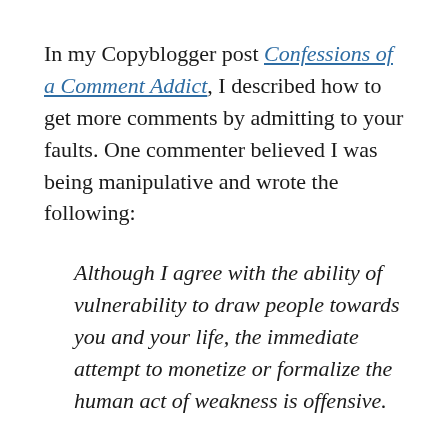In my Copyblogger post Confessions of a Comment Addict, I described how to get more comments by admitting to your faults. One commenter believed I was being manipulative and wrote the following:
Although I agree with the ability of vulnerability to draw people towards you and your life, the immediate attempt to monetize or formalize the human act of weakness is offensive.
Now, what he implied was not my intention. I was not suggesting a bait and switch in